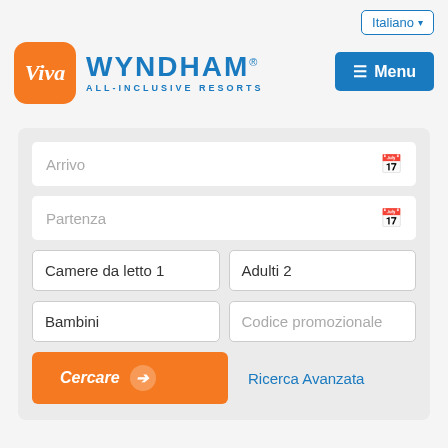[Figure (screenshot): Language selector button with 'Italiano' text and dropdown caret, outlined in blue]
[Figure (logo): Viva Wyndham All-Inclusive Resorts logo: orange rounded square with 'Viva' italic text, next to 'WYNDHAM' in blue with 'ALL-INCLUSIVE RESORTS' subtitle]
[Figure (screenshot): Blue 'Menu' button with hamburger icon]
[Figure (screenshot): Search booking form with fields: Arrivo (arrival date), Partenza (departure date), Camere da letto 1, Adulti 2, Bambini, Codice promozionale, Cercare button, and Ricerca Avanzata link]